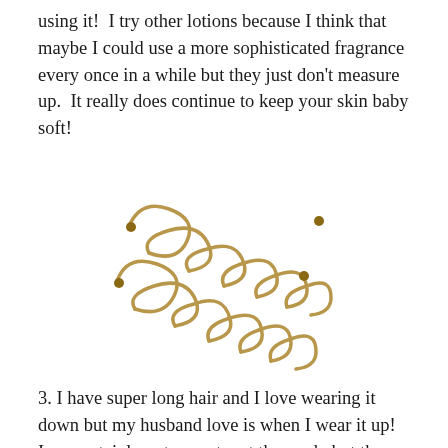using it!  I try other lotions because I think that maybe I could use a more sophisticated fragrance every once in a while but they just don't measure up.  It really does continue to keep your skin baby soft!
[Figure (photo): Two gold-toned spiral/coil hair pins (Goody Simple Styles Spin Pins) photographed on a white background.]
3. I have super long hair and I love wearing it down but my husband love is when I wear it up!  I am certainly not a master at the up do but these Goody Simple Styles Spin Pins have really changed the way